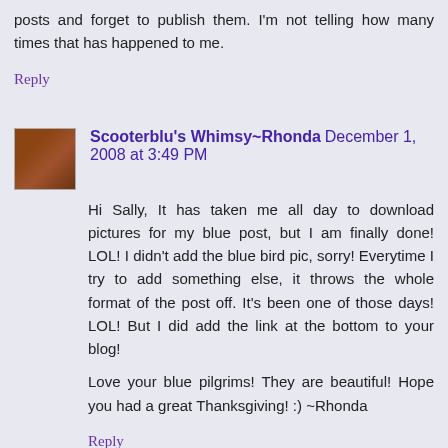posts and forget to publish them. I'm not telling how many times that has happened to me.
Reply
Scooterblu's Whimsy~Rhonda  December 1, 2008 at 3:49 PM
Hi Sally, It has taken me all day to download pictures for my blue post, but I am finally done! LOL! I didn't add the blue bird pic, sorry! Everytime I try to add something else, it throws the whole format of the post off. It's been one of those days! LOL! But I did add the link at the bottom to your blog!
Love your blue pilgrims! They are beautiful! Hope you had a great Thanksgiving! :) ~Rhonda
Reply
Needled Mom  December 1, 2008 at 4:51 PM